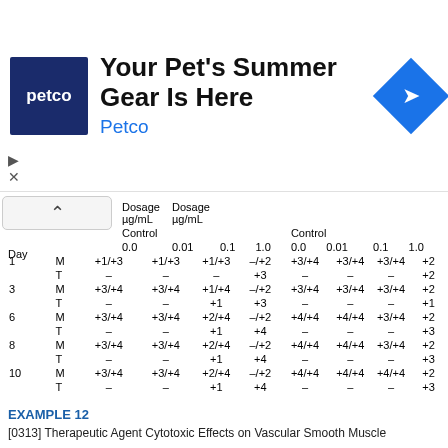[Figure (other): Petco advertisement banner: logo on left (dark blue square with 'petco'), headline 'Your Pet's Summer Gear Is Here', subtext 'Petco', navigation icon on right (blue diamond with arrow)]
| Day |  | Dosage µg/mL Control 0.0 | 0.01 | 0.1 | 1.0 | Control 0.0 | 0.01 | 0.1 | 1.0 |
| --- | --- | --- | --- | --- | --- | --- | --- | --- | --- |
| 1 | M | +1/+3 | +1/+3 | +1/+3 | –/+2 | +3/+4 | +3/+4 | +3/+4 | +2 |
|  | T | – | – | – | +3 | – | – | – | +2 |
| 3 | M | +3/+4 | +3/+4 | +1/+4 | –/+2 | +3/+4 | +3/+4 | +3/+4 | +2 |
|  | T | – | – | +1 | +3 | – | – | – | +1 |
| 6 | M | +3/+4 | +3/+4 | +2/+4 | –/+2 | +4/+4 | +4/+4 | +3/+4 | +2 |
|  | T | – | – | +1 | +4 | – | – | – | +3 |
| 8 | M | +3/+4 | +3/+4 | +2/+4 | –/+2 | +4/+4 | +4/+4 | +3/+4 | +2 |
|  | T | – | – | +1 | +4 | – | – | – | +3 |
| 10 | M | +3/+4 | +3/+4 | +2/+4 | –/+2 | +4/+4 | +4/+4 | +4/+4 | +2 |
|  | T | – | – | +1 | +4 | – | – | – | +3 |
EXAMPLE 12
[0313] Therapeutic Agent Cytotoxic Effects on Vascular Smooth Muscle